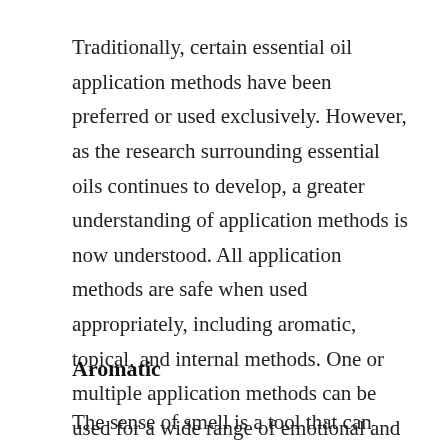Traditionally, certain essential oil application methods have been preferred or used exclusively. However, as the research surrounding essential oils continues to develop, a greater understanding of application methods is now understood. All application methods are safe when used appropriately, including aromatic, topical, and internal methods. One or multiple application methods can be used for a wide range of emotional and physical wellness applications. They can be used a single oil at a time or in complex blends in on of three methods.
Aromatic
The sense of smell is a tool that can elicit powerful physiologic, mental, and emotional responses. Essential